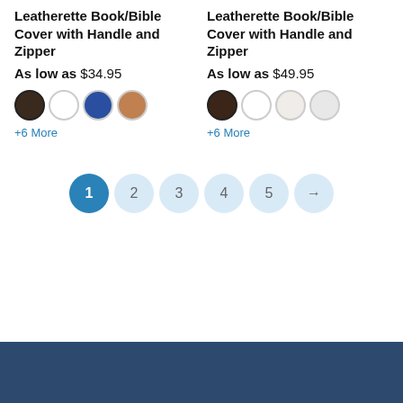Leatherette Book/Bible Cover with Handle and Zipper
As low as $34.95
[Figure (other): Four color swatches: dark brown, white, blue, tan]
+6 More
Leatherette Book/Bible Cover with Handle and Zipper
As low as $49.95
[Figure (other): Four color swatches: dark brown, white, off-white, light gray]
+6 More
1 2 3 4 5 →